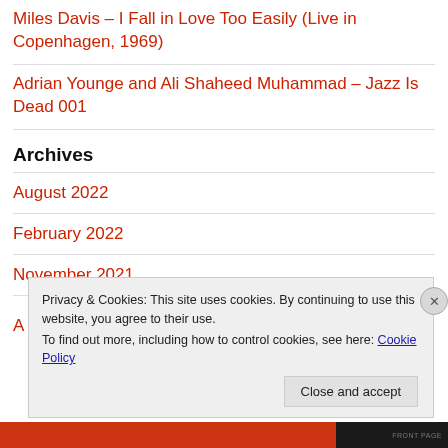Miles Davis – I Fall in Love Too Easily (Live in Copenhagen, 1969)
Adrian Younge and Ali Shaheed Muhammad – Jazz Is Dead 001
Archives
August 2022
February 2022
November 2021
Privacy & Cookies: This site uses cookies. By continuing to use this website, you agree to their use. To find out more, including how to control cookies, see here: Cookie Policy
Close and accept